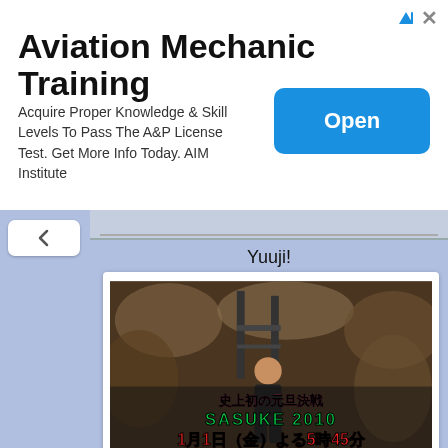[Figure (screenshot): Advertisement banner for Aviation Mechanic Training by AIM Institute with an Open button]
Aviation Mechanic Training
Acquire Proper Knowledge & Skill Levels To Pass The A&P License Test. Get More Info Today. AIM Institute
Yuuji!
[Figure (screenshot): Video thumbnail showing SASUKE 2010 promotional image with Japanese text: 史上初の元旦決戦 SASUKE 2010 1月1日(金)よる5時45分]
Takeda!
[Figure (screenshot): Partial video thumbnail showing what appears to be a rocky/cave-like background with Monster 9 branding]